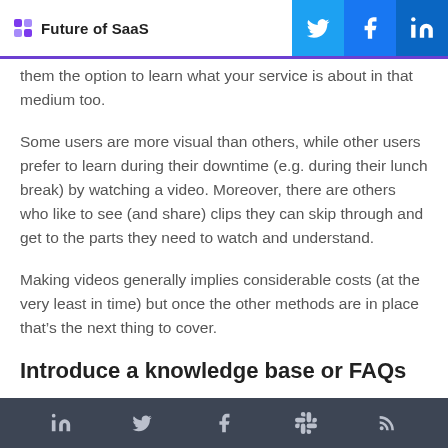Future of SaaS
them the option to learn what your service is about in that medium too.
Some users are more visual than others, while other users prefer to learn during their downtime (e.g. during their lunch break) by watching a video. Moreover, there are others who like to see (and share) clips they can skip through and get to the parts they need to watch and understand.
Making videos generally implies considerable costs (at the very least in time) but once the other methods are in place that’s the next thing to cover.
Introduce a knowledge base or FAQs